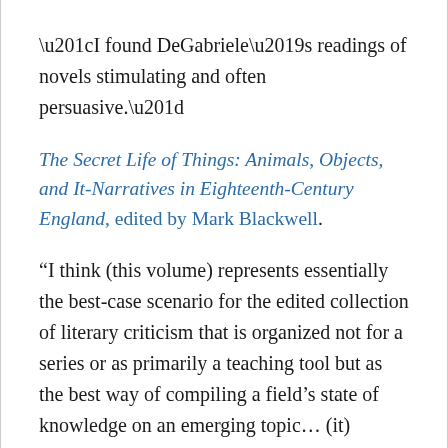“I found DeGabriele’s readings of novels stimulating and often persuasive.”
The Secret Life of Things: Animals, Objects, and It-Narratives in Eighteenth-Century England, edited by Mark Blackwell.
“I think (this volume) represents essentially the best-case scenario for the edited collection of literary criticism that is organized not for a series or as primarily a teaching tool but as the best way of compiling a field’s state of knowledge on an emerging topic… (it) remains an indispensable resource for scholars working on a host of topics related to the it-narrative